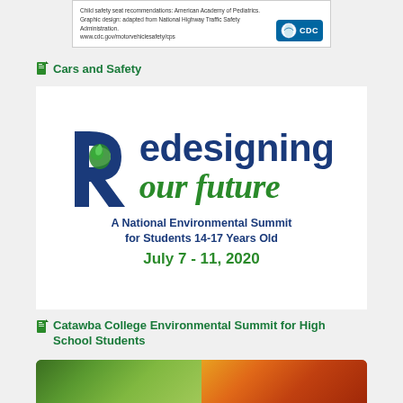[Figure (screenshot): CDC child safety seat info card with CDC logo badge]
Cars and Safety
[Figure (logo): Redesigning our future - A National Environmental Summit for Students 14-17 Years Old, July 7 - 11, 2020. Logo features a large blue R with green earth map overlay.]
Catawba College Environmental Summit for High School Students
[Figure (photo): Fresh vegetables including green leafy herbs and carrots]